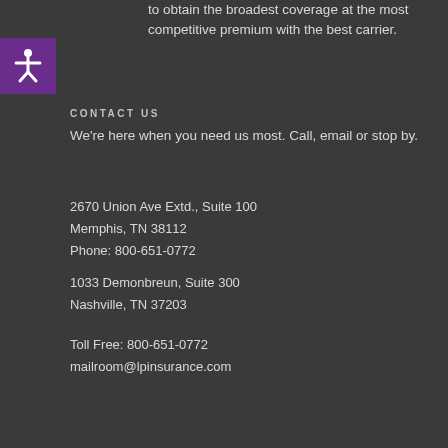to obtain the broadest coverage at the most competitive premium with the best carrier.
[Figure (illustration): Accessibility icon: white human figure with arms outstretched on a purple square background]
CONTACT US
We're here when you need us most. Call, email or stop by.
2670 Union Ave Extd., Suite 100
Memphis, TN 38112
Phone: 800-651-0772
1033 Demonbreun, Suite 300
Nashville, TN 37203
Toll Free: 800-651-0772
mailroom@lpinsurance.com